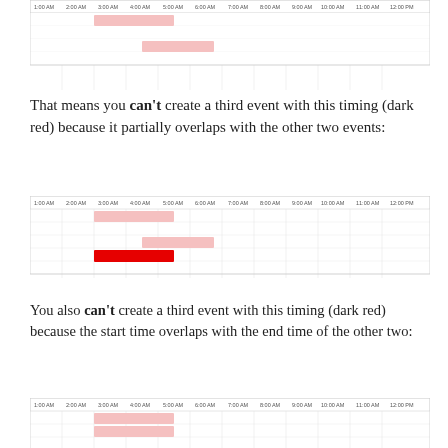[Figure (infographic): Timeline/calendar grid showing two pink event bars: one from 3AM-4:30AM and one from 4AM-6AM]
That means you can't create a third event with this timing (dark red) because it partially overlaps with the other two events:
[Figure (infographic): Timeline/calendar grid showing two pink event bars and one bright red bar from 3AM-5AM indicating partial overlap]
You also can't create a third event with this timing (dark red) because the start time overlaps with the end time of the other two:
[Figure (infographic): Timeline/calendar grid showing two pink event bars and one bright red bar at 5AM indicating start-time overlap with end time]